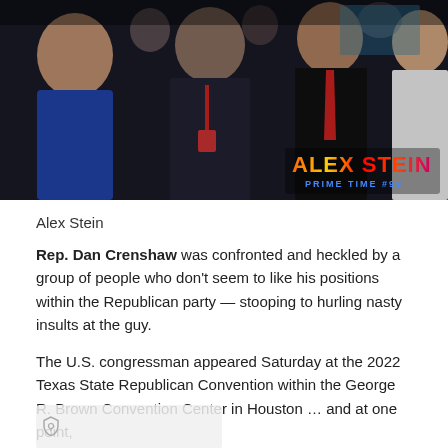[Figure (photo): Video still showing Rep. Dan Crenshaw being confronted by a group of people in a crowded indoor venue. Multiple people visible, one wearing a suit with a red tie. Alex Stein Prime Time #99 watermark in bottom right corner.]
Alex Stein
Rep. Dan Crenshaw was confronted and heckled by a group of people who don't seem to like his positions within the Republican party — stooping to hurling nasty insults at the guy.
The U.S. congressman appeared Saturday at the 2022 Texas State Republican Convention within the George R. Brown Convention Center in Houston ... and at one point,